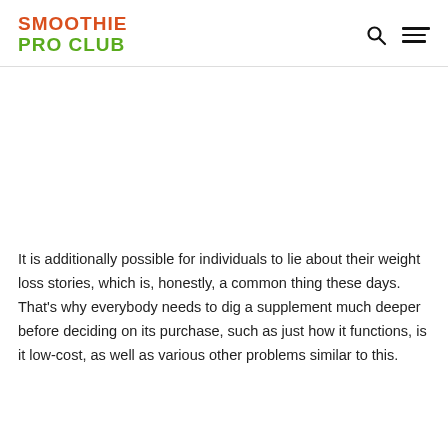SMOOTHIE PRO CLUB
It is additionally possible for individuals to lie about their weight loss stories, which is, honestly, a common thing these days. That’s why everybody needs to dig a supplement much deeper before deciding on its purchase, such as just how it functions, is it low-cost, as well as various other problems similar to this.